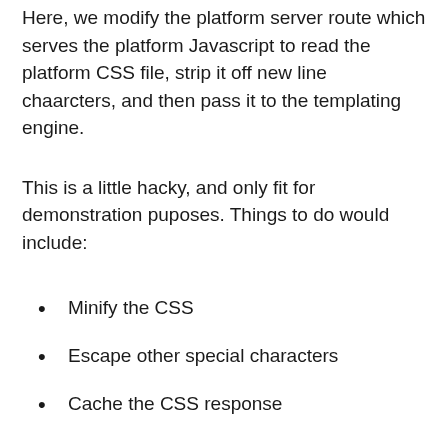Here, we modify the platform server route which serves the platform Javascript to read the platform CSS file, strip it off new line chaarcters, and then pass it to the templating engine.
This is a little hacky, and only fit for demonstration puposes. Things to do would include:
Minify the CSS
Escape other special characters
Cache the CSS response